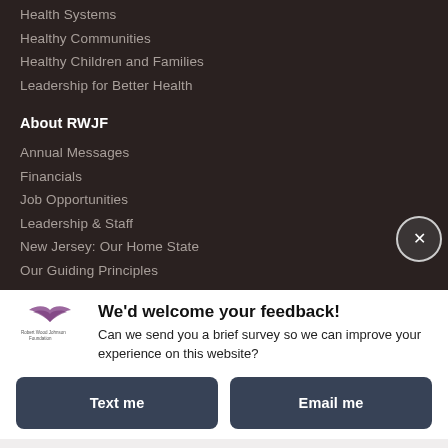Health Systems
Healthy Communities
Healthy Children and Families
Leadership for Better Health
About RWJF
Annual Messages
Financials
Job Opportunities
Leadership & Staff
New Jersey: Our Home State
Our Guiding Principles
We'd welcome your feedback!
Can we send you a brief survey so we can improve your experience on this website?
Text me
Email me
Powered by ForeSee